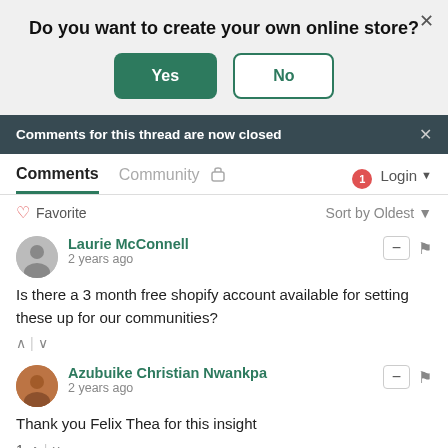Do you want to create your own online store?
Yes
No
Comments for this thread are now closed
Comments
Community
Login
Favorite
Sort by Oldest
Laurie McConnell
2 years ago
Is there a 3 month free shopify account available for setting these up for our communities?
Azubuike Christian Nwankpa
2 years ago
Thank you Felix Thea for this insight